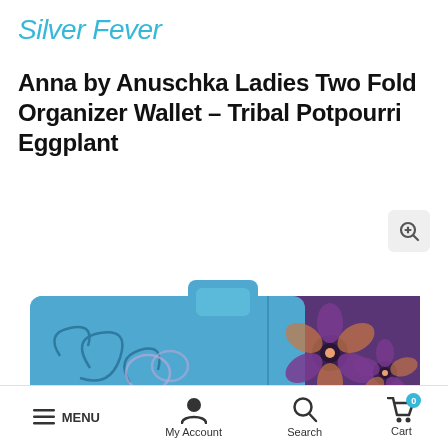Silver Fever
Anna by Anuschka Ladies Two Fold Organizer Wallet – Tribal Potpourri Eggplant
[Figure (photo): Product photo of Anna by Anuschka Ladies Two Fold Organizer Wallet in Tribal Potpourri Eggplant design, showing a blue leather wallet with purple floral and swirl embossed patterns and a snap clasp, partially visible from top and front angles.]
MENU   My Account   Search   Cart 0